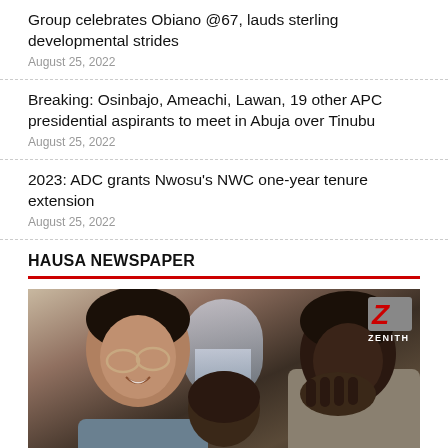Group celebrates Obiano @67, lauds sterling developmental strides
August 25, 2022
Breaking: Osinbajo, Ameachi, Lawan, 19 other APC presidential aspirants to meet in Abuja over Tinubu
August 25, 2022
2023: ADC grants Nwosu's NWC one-year tenure extension
August 25, 2022
HAUSA NEWSPAPER
[Figure (photo): Three people (two adults and a child) gathered together, with a woman on the left wearing glasses and smiling, a child in the middle, and a woman on the right covering her mouth. A Zenith Bank logo is visible in the top right corner.]